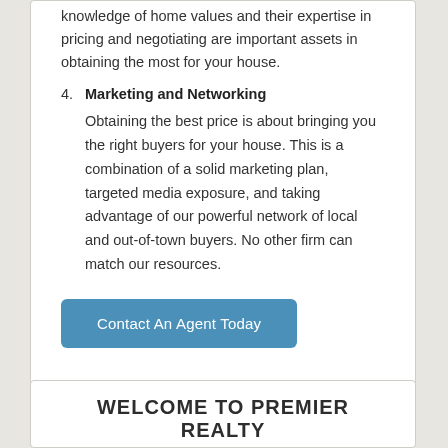knowledge of home values and their expertise in pricing and negotiating are important assets in obtaining the most for your house.
4. Marketing and Networking
Obtaining the best price is about bringing you the right buyers for your house. This is a combination of a solid marketing plan, targeted media exposure, and taking advantage of our powerful network of local and out-of-town buyers. No other firm can match our resources.
Contact An Agent Today
WELCOME TO PREMIER REALTY